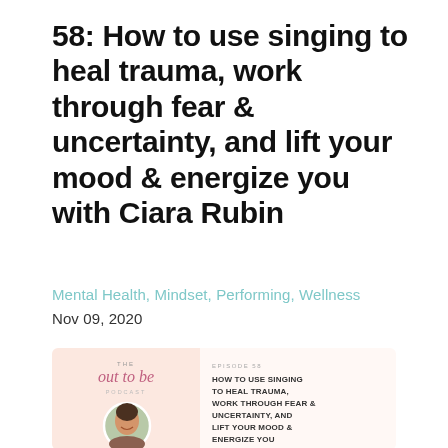58: How to use singing to heal trauma, work through fear & uncertainty, and lift your mood & energize you with Ciara Rubin
Mental Health, Mindset, Performing, Wellness
Nov 09, 2020
[Figure (illustration): Podcast episode thumbnail for 'The Out to Be Podcast', Episode 58, showing the episode title text on a peach/white background with a circular photo of a smiling woman with dark hair.]